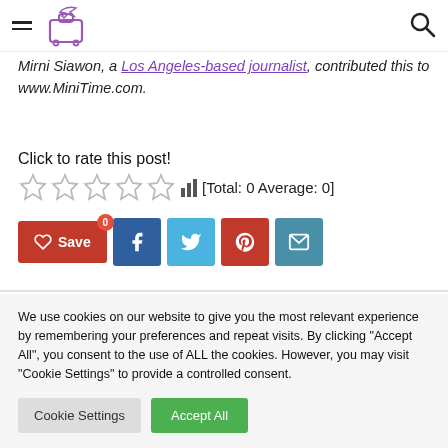MiniTime logo and navigation
Mirni Siawon, a Los Angeles-based journalist, contributed this to www.MiniTime.com.
Click to rate this post!
[Figure (other): Five star rating icons (all empty/grey) with bar chart icon and [Total: 0 Average: 0] label]
[Figure (other): Social share buttons: Save (red), Facebook (blue), Twitter (light blue), Pinterest (red), Email (teal)]
We use cookies on our website to give you the most relevant experience by remembering your preferences and repeat visits. By clicking "Accept All", you consent to the use of ALL the cookies. However, you may visit "Cookie Settings" to provide a controlled consent.
Cookie Settings | Accept All